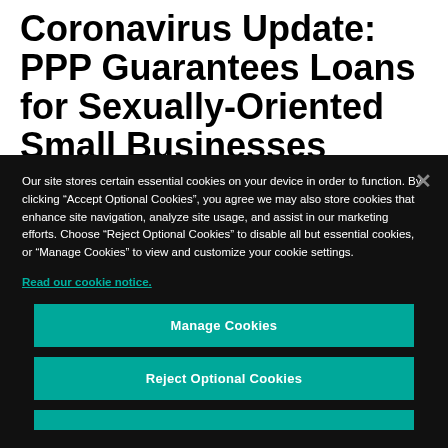Coronavirus Update: PPP Guarantees Loans for Sexually-Oriented Small Businesses
Our site stores certain essential cookies on your device in order to function. By clicking “Accept Optional Cookies”, you agree we may also store cookies that enhance site navigation, analyze site usage, and assist in our marketing efforts. Choose “Reject Optional Cookies” to disable all but essential cookies, or “Manage Cookies” to view and customize your cookie settings.
Read our cookie notice.